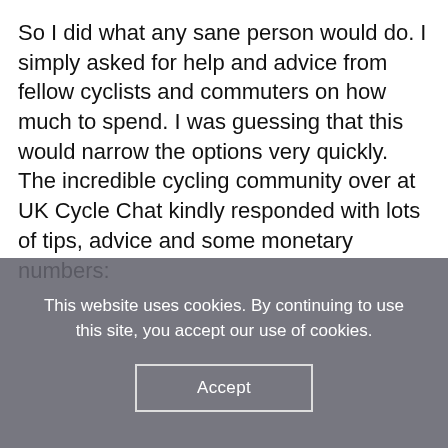So I did what any sane person would do. I simply asked for help and advice from fellow cyclists and commuters on how much to spend. I was guessing that this would narrow the options very quickly. The incredible cycling community over at UK Cycle Chat kindly responded with lots of tips, advice and some monetary numbers:
This website uses cookies. By continuing to use this site, you accept our use of cookies.
Accept